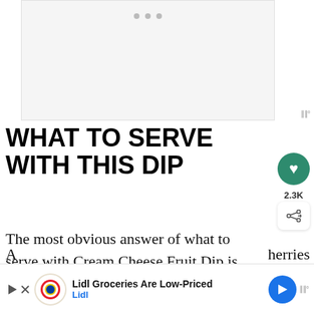[Figure (photo): Light gray image placeholder with three dots at top indicating a carousel or loading state, with a waveform/volume icon at bottom right]
WHAT TO SERVE WITH THIS DIP
The most obvious answer of what to serve with Cream Cheese Fruit Dip is right in the name – fruit!
[Figure (infographic): What's Next box showing Orange Fruit Dip with thumbnail image]
Lidl Groceries Are Low-Priced Lidl